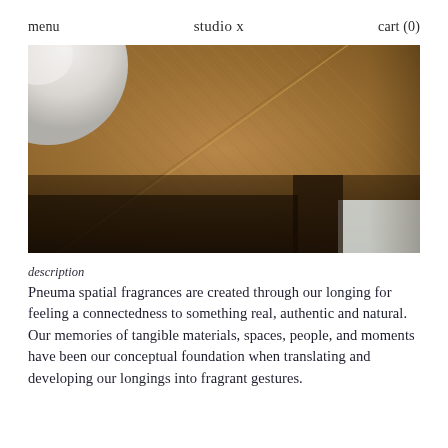menu   studio x   cart (0)
[Figure (photo): Close-up photograph of a wooden surface with visible grain texture and a partial view of a white spherical or round marble object in the upper left corner. The wood appears to be oak or similar light-brown hardwood. The lower right corner shows a dark shadow area and a small light-colored rectangular element.]
description
Pneuma spatial fragrances are created through our longing for feeling a connectedness to something real, authentic and natural. Our memories of tangible materials, spaces, people, and moments have been our conceptual foundation when translating and developing our longings into fragrant gestures.